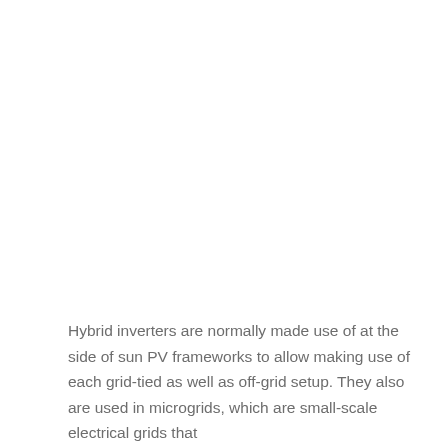Hybrid inverters are normally made use of at the side of sun PV frameworks to allow making use of each grid-tied as well as off-grid setup. They also are used in microgrids, which are small-scale electrical grids that